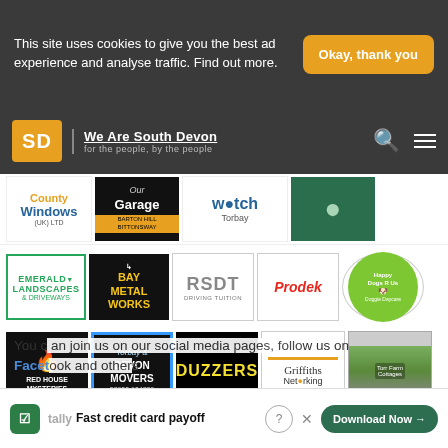This site uses cookies to give you the best ad experience and analyse traffic. Find out more.
Okay, thank you
[Figure (logo): We Are South Devon logo with SD icon and tagline 'for the people, by the people']
[Figure (logo): Grid of business logos: County Windows, Our Garage, Watch Torbay, and others; Emerald Landscapes & Driveways, Bay Metal Works, RSDT Driving Tuition, Prodek, Happy Dogs; Red House Mysteries, Torbay Devon Movers, Duzzers, Griffiths Networking, Torr Farm Cottages]
You can join us on our social media pages, follow us on Facebook
[Figure (logo): Tally app advertisement banner: Fast credit card payoff with Download Now button]